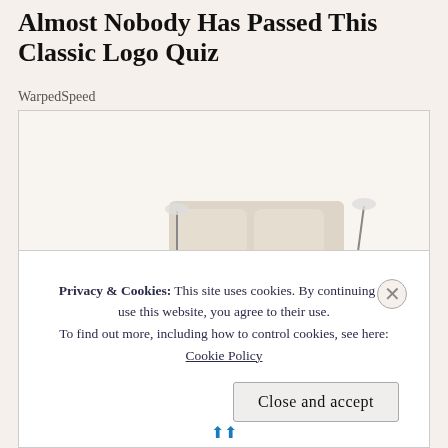Almost Nobody Has Passed This Classic Logo Quiz
WarpedSpeed
[Figure (photo): A modern luxury multifunctional bed with built-in speakers, massage chair, storage drawers, laptop stand, reading lamps, and various other attachments, shown in cream/beige leather upholstery with brown bedding.]
Privacy & Cookies: This site uses cookies. By continuing to use this website, you agree to their use. To find out more, including how to control cookies, see here: Cookie Policy
Close and accept